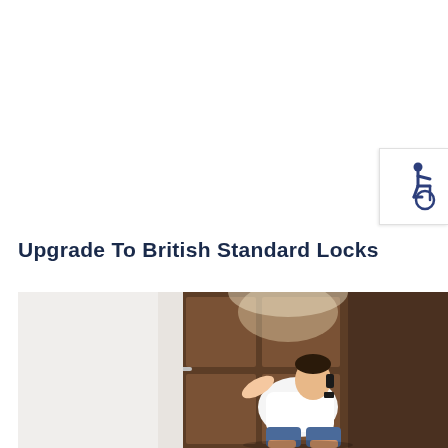[Figure (illustration): Accessibility icon — blue wheelchair symbol on white background with light border]
Upgrade To British Standard Locks
[Figure (photo): A man sitting on the floor with his back against a brown wooden door, talking on a phone while gesturing with one hand. The door has a silver lever handle and lock mechanism. The scene is lit from above.]